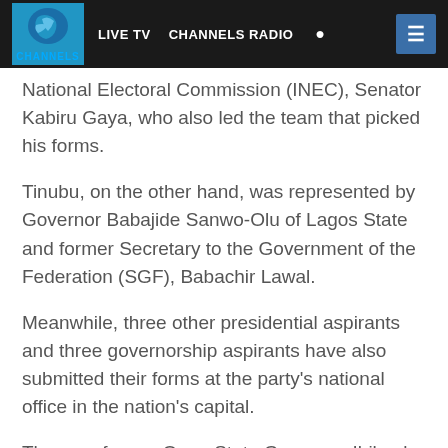LIVE TV  CHANNELS RADIO  [search]  [menu]
National Electoral Commission (INEC), Senator Kabiru Gaya, who also led the team that picked his forms.
Tinubu, on the other hand, was represented by Governor Babajide Sanwo-Olu of Lagos State and former Secretary to the Government of the Federation (SGF), Babachir Lawal.
Meanwhile, three other presidential aspirants and three governorship aspirants have also submitted their forms at the party's national office in the nation's capital.
They are former Ogun State Governor, Ibikunle